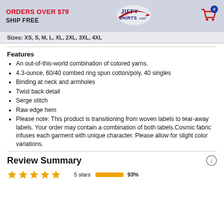ORDERS OVER $79 SHIP FREE | JiffyShirts.com | Cart: 0
Sizes: XS, S, M, L, XL, 2XL, 3XL, 4XL
Features
An out-of-this-world combination of colored yarns.
4.3-ounce, 60/40 combed ring spun cotton/poly, 40 singles
Binding at neck and armholes
Twist back detail
Serge stitch
Raw edge hem
Please note: This product is transitioning from woven labels to tear-away labels. Your order may contain a combination of both labels.Cosmic fabric infuses each garment with unique character. Please allow for slight color variations.
Review Summary
5 stars  93%